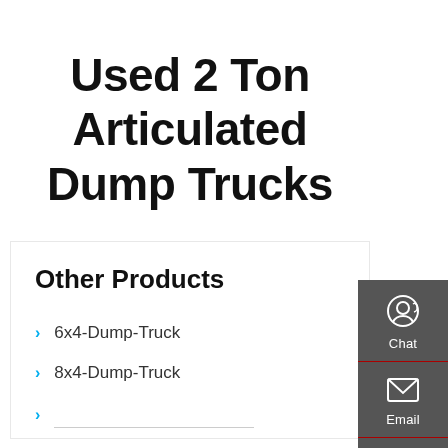Used 2 Ton Articulated Dump Trucks
Other Products
6x4-Dump-Truck
8x4-Dump-Truck
Second Hand 6x4 Dump Trucks (partial)